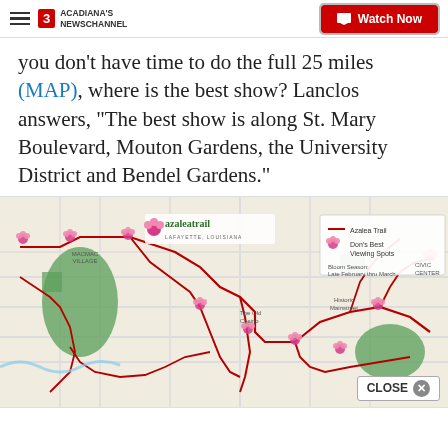ACADIANA'S NEWSCHANNEL | Watch Now
you don't have time to do the full 25 miles (MAP), where is the best show? Lanclos answers, "The best show is along St. Mary Boulevard, Mouton Gardens, the University District and Bendel Gardens."
[Figure (map): Azalea Trail map of Lafayette, LA showing the trail route in red, Don's Best Viewing Spots marked with pink azalea flower icons, and green areas representing parks. Legend shows: Azalea Trail (red line), Don's Best Viewing Spots (pink flower), Bloom Season: Late February thru March.]